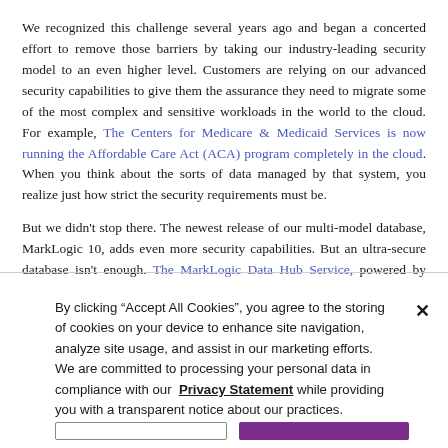We recognized this challenge several years ago and began a concerted effort to remove those barriers by taking our industry-leading security model to an even higher level. Customers are relying on our advanced security capabilities to give them the assurance they need to migrate some of the most complex and sensitive workloads in the world to the cloud. For example, The Centers for Medicare & Medicaid Services is now running the Affordable Care Act (ACA) program completely in the cloud. When you think about the sorts of data managed by that system, you realize just how strict the security requirements must be.
But we didn't stop there. The newest release of our multi-model database, MarkLogic 10, adds even more security capabilities. But an ultra-secure database isn't enough. The MarkLogic Data Hub Service, powered by MarkLogic 10, secures your entire data integration
By clicking "Accept All Cookies", you agree to the storing of cookies on your device to enhance site navigation, analyze site usage, and assist in our marketing efforts. We are committed to processing your personal data in compliance with our Privacy Statement while providing you with a transparent notice about our practices.